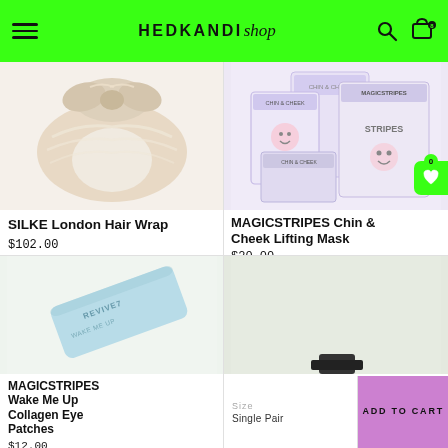HEDKANDI shop
[Figure (photo): Silke London Hair Wrap, a cream/champagne coloured silk turban hair wrap on white background]
SILKE London Hair Wrap
$102.00
[Figure (photo): MAGICSTRIPES Chin & Cheek Lifting Mask product packaging on pink background, showing multiple boxes]
MAGICSTRIPES Chin & Cheek Lifting Mask
$20.00
[Figure (photo): MAGICSTRIPES Wake Me Up Collagen Eye Patches, light blue packaging with text REVIVE7]
MAGICSTRIPES Wake Me Up Collagen Eye Patches
$12.00
[Figure (photo): Product image on light cream/sage background with dark object at bottom]
Size
Single Pair
ADD TO CART